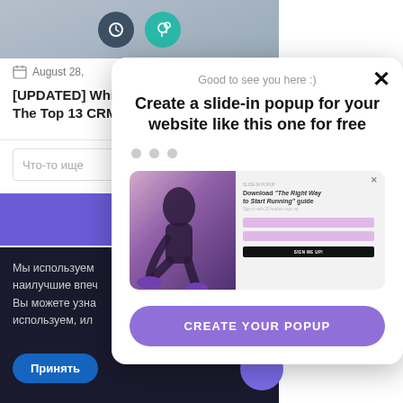[Figure (screenshot): Background webpage showing top navigation with cloud and CRM icons, article date August 28, article title [UPDATED] Which... The Top 13 CRM..., a search input with Russian placeholder text, a purple button, and a dark cookie consent bar with Russian text and Accept button]
[Figure (screenshot): Slide-in popup overlay with close button X, greeting 'Good to see you here :)', headline 'Create a slide-in popup for your website like this one for free', three navigation dots, a preview showing a fitness popup with runner image and form with SIGN ME UP! button, and a purple CTA button 'CREATE YOUR POPUP']